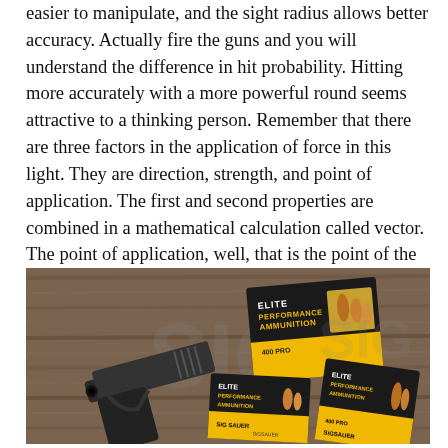easier to manipulate, and the sight radius allows better accuracy. Actually fire the guns and you will understand the difference in hit probability. Hitting more accurately with a more powerful round seems attractive to a thinking person. Remember that there are three factors in the application of force in this light. They are direction, strength, and point of application. The first and second properties are combined in a mathematical calculation called vector. The point of application, well, that is the point of the arrow and the spot on the target where the force does the most good and the most meaningful damage. This means accurate delivery.
[Figure (photo): A handgun (appears to be a SIG Sauer pistol) lying on a wooden surface next to multiple boxes of SIG Sauer Elite Performance Ammunition. The ammunition boxes are black and yellow with bullet imagery.]